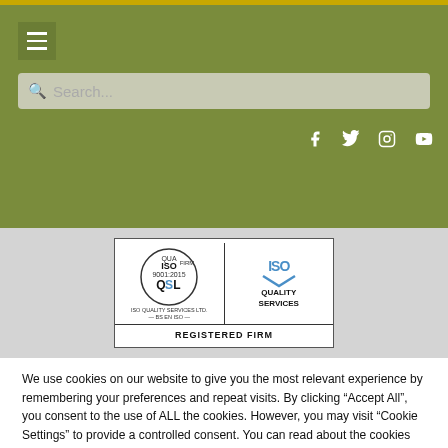Navigation header with hamburger menu, search bar, and social media icons
[Figure (logo): ISO 9001:2015 registered firm certificate badge with QSL and ISO Quality Services logos]
We use cookies on our website to give you the most relevant experience by remembering your preferences and repeat visits. By clicking "Accept All", you consent to the use of ALL the cookies. However, you may visit "Cookie Settings" to provide a controlled consent. You can read about the cookies here
Cookie Settings
Accept All